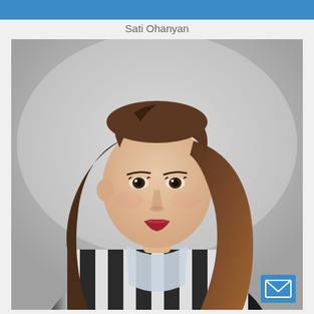Sati Ohanyan
[Figure (photo): Professional headshot of a young woman with long brown hair, wearing a black and white striped blazer, photographed against a light gray gradient background. She is looking slightly to the side with a composed expression and red lipstick.]